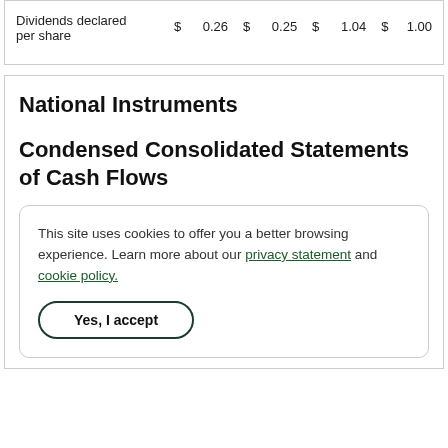| Dividends declared per share | $ | 0.26 | $ | 0.25 | $ | 1.04 | $ | 1.00 |
National Instruments
Condensed Consolidated Statements of Cash Flows
This site uses cookies to offer you a better browsing experience. Learn more about our privacy statement and cookie policy.
Yes, I accept